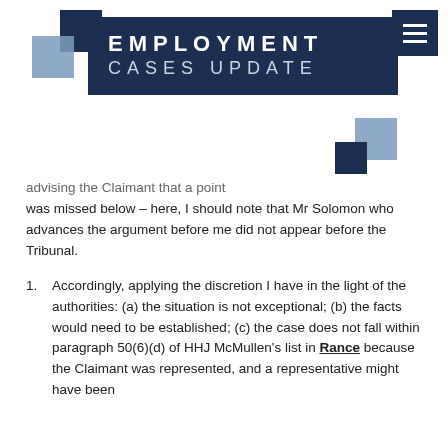EMPLOYMENT CASES UPDATE
...advising the Claimant that a point was missed below – here, I should note that Mr Solomon who advances the argument before me did not appear before the Tribunal.
1. Accordingly, applying the discretion I have in the light of the authorities: (a) the situation is not exceptional; (b) the facts would need to be established; (c) the case does not fall within paragraph 50(6)(d) of HHJ McMullen's list in Rance because the Claimant was represented, and a representative might have been